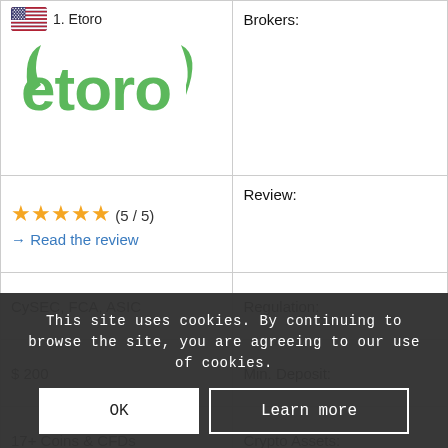| Left | Right |
| --- | --- |
| 1. Etoro [US flag] / eToro logo | Brokers: |
| ★★★★★ (5 / 5)
→ Read the review | Review: |
| CySEC, FCA, ASIC | Regulation: |
| $ 200 | Min. Deposit: |
| 17+ Coins & CFDs | Crypto Assets: |
| + Leverage 1:1 or 1:2
+ Social Trading
+ Low spreads
+ PayPal
+ Exchange & Wallet | Advantages: |
This site uses cookies. By continuing to browse the site, you are agreeing to our use of cookies.
OK
Learn more